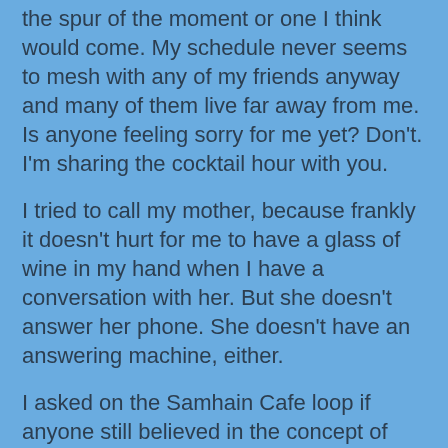the spur of the moment or one I think would come. My schedule never seems to mesh with any of my friends anyway and many of them live far away from me. Is anyone feeling sorry for me yet? Don't. I'm sharing the cocktail hour with you.
I tried to call my mother, because frankly it doesn't hurt for me to have a glass of wine in my hand when I have a conversation with her. But she doesn't answer her phone. She doesn't have an answering machine, either.
I asked on the Samhain Cafe loop if anyone still believed in the concept of forever in relation to marriage, considering all the rampant divorce, especially among Hollywood celebrities. But do twenty-somethings everywhere even believe in the idea that marriage is supposed to last a lifetime? I wondered. Most of the responses to my inquiry were positive. Readers on that loop, at least still think